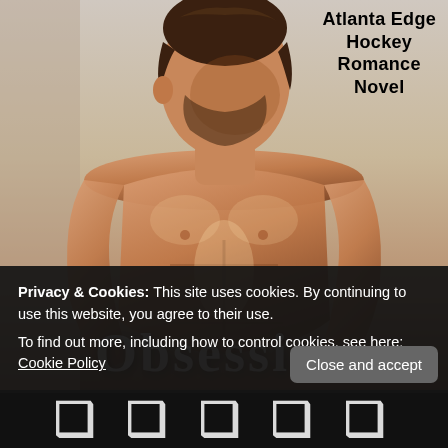[Figure (photo): Book cover showing a shirtless athletic man (hockey romance novel) from the Atlanta Edge Hockey Romance Novel series. The man has dark hair, muscular physique, looking downward. Background is light grey/blue. Large white decorative title text visible at bottom of cover.]
Atlanta Edge Hockey Romance Novel
Privacy & Cookies: This site uses cookies. By continuing to use this website, you agree to their use.
To find out more, including how to control cookies, see here: Cookie Policy
Close and accept